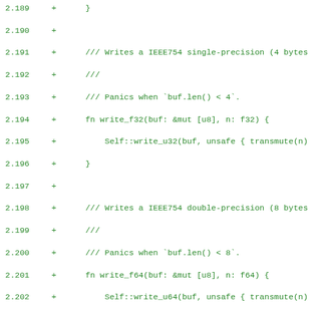Code diff showing Rust source lines 2.189-2.220 with additions for IEEE754 float write functions and endian serialization enum definitions.